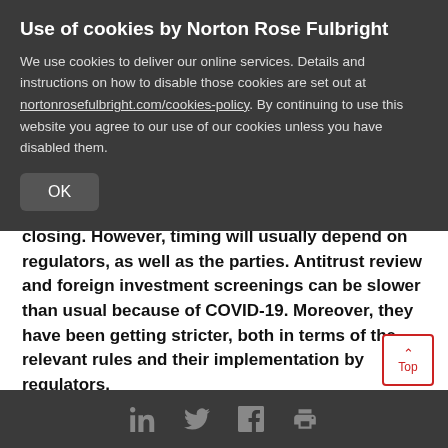Use of cookies by Norton Rose Fulbright
We use cookies to deliver our online services. Details and instructions on how to disable those cookies are set out at nortonrosefulbright.com/cookies-policy. By continuing to use this website you agree to our use of our cookies unless you have disabled them.
OK
closing. However, timing will usually depend on regulators, as well as the parties. Antitrust review and foreign investment screenings can be slower than usual because of COVID-19. Moreover, they have been getting stricter, both in terms of the relevant rules and their implementation by regulators.
Due diligence
LinkedIn Twitter Facebook Print icons